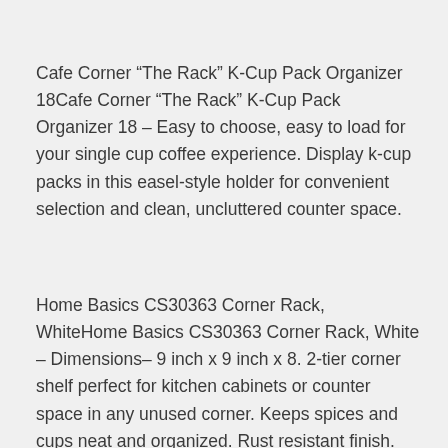Cafe Corner “The Rack” K-Cup Pack Organizer 18Cafe Corner “The Rack” K-Cup Pack Organizer 18 – Easy to choose, easy to load for your single cup coffee experience. Display k-cup packs in this easel-style holder for convenient selection and clean, uncluttered counter space.
Home Basics CS30363 Corner Rack, WhiteHome Basics CS30363 Corner Rack, White – Dimensions– 9 inch x 9 inch x 8. 2-tier corner shelf perfect for kitchen cabinets or counter space in any unused corner. Keeps spices and cups neat and organized. Rust resistant finish. Corner